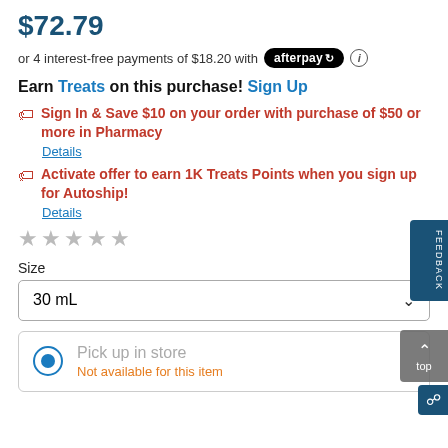$72.79
or 4 interest-free payments of $18.20 with afterpay
Earn Treats on this purchase! Sign Up
Sign In & Save $10 on your order with purchase of $50 or more in Pharmacy
Details
Activate offer to earn 1K Treats Points when you sign up for Autoship!
Details
Size
30 mL
Pick up in store
Not available for this item